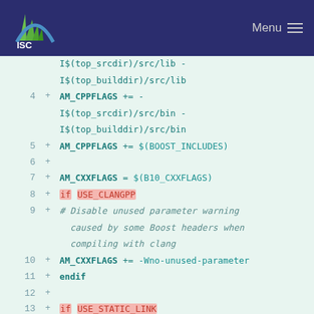ISC — Menu
Code diff showing Makefile.am additions:
Line 4: + AM_CPPFLAGS += - I$(top_srcdir)/src/bin - I$(top_builddir)/src/bin
Line 5: + AM_CPPFLAGS += $(BOOST_INCLUDES)
Line 6: +
Line 7: + AM_CXXFLAGS = $(B10_CXXFLAGS)
Line 8: + if USE_CLANGPP
Line 9: + # Disable unused parameter warning caused by some Boost headers when compiling with clang
Line 10: + AM_CXXFLAGS += -Wno-unused-parameter
Line 11: + endif
Line 12: +
Line 13: + if USE_STATIC_LINK
Line 14: + AM_LDFLAGS = -static
Line 15: + endif
Line 16: +
Line 17: + pkglibexecdir =